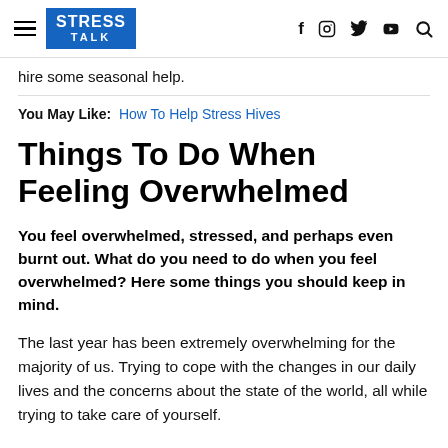STRESS TALK
hire some seasonal help.
You May Like: How To Help Stress Hives
Things To Do When Feeling Overwhelmed
You feel overwhelmed, stressed, and perhaps even burnt out. What do you need to do when you feel overwhelmed? Here some things you should keep in mind.
The last year has been extremely overwhelming for the majority of us. Trying to cope with the changes in our daily lives and the concerns about the state of the world, all while trying to take care of yourself.